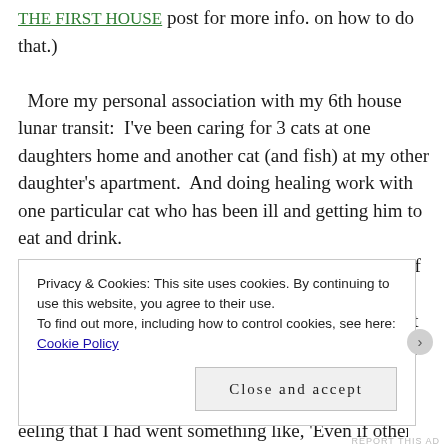THE FIRST HOUSE post for more info. on how to do that.)  More my personal association with my 6th house lunar transit:  I've been caring for 3 cats at one daughters home and another cat (and fish) at my other daughter's apartment.  And doing healing work with one particular cat who has been ill and getting him to eat and drink.  This very much relates to the 6th house archetype of small pets and healing work of the 6th house. He ate very well yesterday and drank water too and my part in helping with that was very emotionally satisfying.  And also knowing that I am helping my daughters.  The feeling that I had went something like, 'Even if other area
Privacy & Cookies: This site uses cookies. By continuing to use this website, you agree to their use. To find out more, including how to control cookies, see here: Cookie Policy
Close and accept